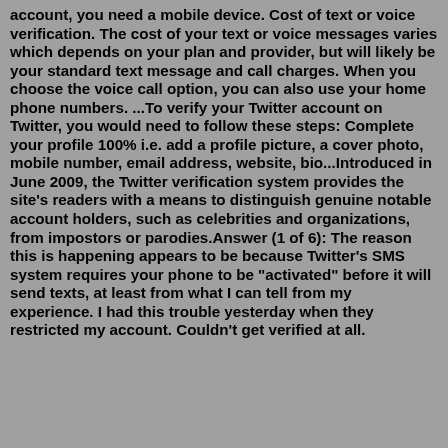account, you need a mobile device. Cost of text or voice verification. The cost of your text or voice messages varies which depends on your plan and provider, but will likely be your standard text message and call charges. When you choose the voice call option, you can also use your home phone numbers. ...To verify your Twitter account on Twitter, you would need to follow these steps: Complete your profile 100% i.e. add a profile picture, a cover photo, mobile number, email address, website, bio...Introduced in June 2009, the Twitter verification system provides the site's readers with a means to distinguish genuine notable account holders, such as celebrities and organizations, from impostors or parodies.Answer (1 of 6): The reason this is happening appears to be because Twitter's SMS system requires your phone to be "activated" before it will send texts, at least from what I can tell from my experience. I had this trouble yesterday when they restricted my account. Couldn't get verified at all.